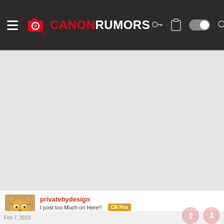CANONRUMORS
[Figure (screenshot): Large gray advertisement placeholder area]
privatebydesign
I post too Much on Here!!  CR Pro
Ad
Feb 7, 2019